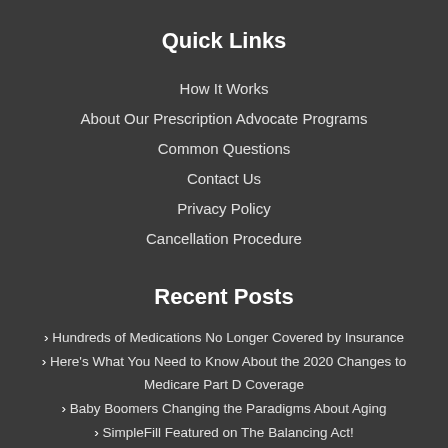Quick Links
How It Works
About Our Prescription Advocate Programs
Common Questions
Contact Us
Privacy Policy
Cancellation Procedure
Recent Posts
Hundreds of Medications No Longer Covered by Insurance
Here's What You Need to Know About the 2020 Changes to Medicare Part D Coverage
Baby Boomers Changing the Paradigms About Aging
SimpleFill Featured on The Balancing Act!
The Benefits Of Routines for Seniors Facing Chronic Illness
Take it for Grant(ed): How Grants Can Help You Pay for Your Prescriptions